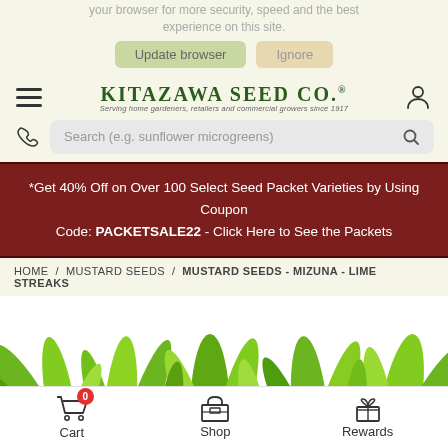your browser for more security, speed and the best experience on this site.
Update browser   Ignore
KITAZAWA SEED CO. — Serving home gardeners, retailers and commercial growers since 1917
Search (e.g. sunflower microgreens)
*Get 40% Off on Over 100 Select Seed Packet Varieties by Using Coupon Code: PACKETSALE22 - Click Here to See the Packets
HOME / MUSTARD SEEDS / MUSTARD SEEDS - MIZUNA - LIME STREAKS
[Figure (photo): Green leafy mizuna lime streaks plant with bright green elongated leaves against white background]
Cart   Shop   Rewards